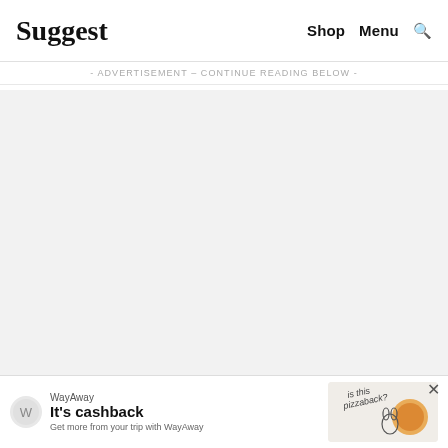Suggest   Shop   Menu   🔍
- ADVERTISEMENT - CONTINUE READING BELOW -
[Figure (other): Large gray advertisement placeholder area in the main content region of a Suggest.com webpage]
[Figure (other): WayAway advertisement banner at bottom: logo, headline 'It's cashback', subtext 'Get more from your trip with WayAway', decorative pizza illustration with text 'is this pizzaback?']